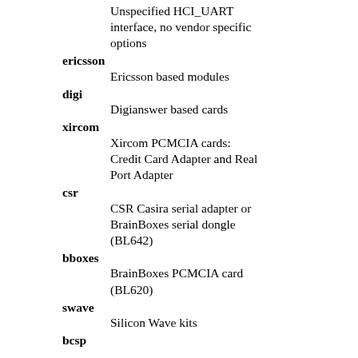Unspecified HCI_UART interface, no vendor specific options
ericsson
Ericsson based modules
digi
Digianswer based cards
xircom
Xircom PCMCIA cards: Credit Card Adapter and Real Port Adapter
csr
CSR Casira serial adapter or BrainBoxes serial dongle (BL642)
bboxes
BrainBoxes PCMCIA card (BL620)
swave
Silicon Wave kits
bcsp